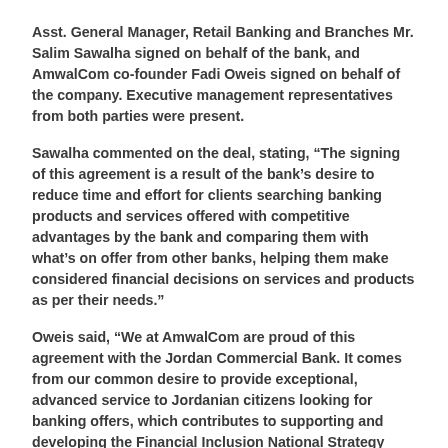Asst. General Manager, Retail Banking and Branches Mr. Salim Sawalha signed on behalf of the bank, and AmwalCom co-founder Fadi Oweis signed on behalf of the company. Executive management representatives from both parties were present.
Sawalha commented on the deal, stating, “The signing of this agreement is a result of the bank’s desire to reduce time and effort for clients searching banking products and services offered with competitive advantages by the bank and comparing them with what’s on offer from other banks, helping them make considered financial decisions on services and products as per their needs.”
Oweis said, “We at AmwalCom are proud of this agreement with the Jordan Commercial Bank. It comes from our common desire to provide exceptional, advanced service to Jordanian citizens looking for banking offers, which contributes to supporting and developing the Financial Inclusion National Strategy Project at the Central Bank of Jordan. AmwalCom allows Jordanians to compare different financial offers by different funding bodies on the website. We have recently activated a Chatbot on